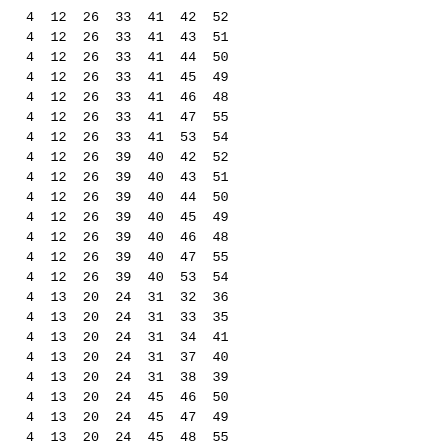| 4 | 12 | 26 | 33 | 41 | 42 | 52 |
| 4 | 12 | 26 | 33 | 41 | 43 | 51 |
| 4 | 12 | 26 | 33 | 41 | 44 | 50 |
| 4 | 12 | 26 | 33 | 41 | 45 | 49 |
| 4 | 12 | 26 | 33 | 41 | 46 | 48 |
| 4 | 12 | 26 | 33 | 41 | 47 | 55 |
| 4 | 12 | 26 | 33 | 41 | 53 | 54 |
| 4 | 12 | 26 | 39 | 40 | 42 | 52 |
| 4 | 12 | 26 | 39 | 40 | 43 | 51 |
| 4 | 12 | 26 | 39 | 40 | 44 | 50 |
| 4 | 12 | 26 | 39 | 40 | 45 | 49 |
| 4 | 12 | 26 | 39 | 40 | 46 | 48 |
| 4 | 12 | 26 | 39 | 40 | 47 | 55 |
| 4 | 12 | 26 | 39 | 40 | 53 | 54 |
| 4 | 13 | 20 | 24 | 31 | 32 | 36 |
| 4 | 13 | 20 | 24 | 31 | 33 | 35 |
| 4 | 13 | 20 | 24 | 31 | 34 | 41 |
| 4 | 13 | 20 | 24 | 31 | 37 | 40 |
| 4 | 13 | 20 | 24 | 31 | 38 | 39 |
| 4 | 13 | 20 | 24 | 45 | 46 | 50 |
| 4 | 13 | 20 | 24 | 45 | 47 | 49 |
| 4 | 13 | 20 | 24 | 45 | 48 | 55 |
| 4 | 13 | 20 | 24 | 45 | 51 | 54 |
| 4 | 13 | 20 | 24 | 45 | 52 | 53 |
| 4 | 13 | 20 | 27 | 30 | 32 | 36 |
| 4 | 13 | 20 | 27 | 30 | 33 | 35 |
| 4 | 13 | 20 | 27 | 30 | 34 | 41 |
| 4 | 13 | 20 | 27 | 30 | 37 | 40 |
| 4 | 13 | 20 | 27 | 30 | 38 | 39 |
| 4 | 13 | 20 | 27 | 44 | 46 | 50 |